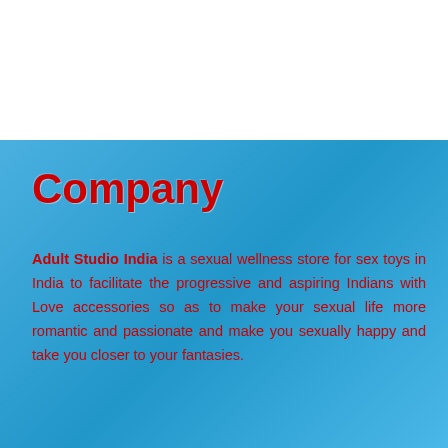Company
Adult Studio India is a sexual wellness store for sex toys in India to facilitate the progressive and aspiring Indians with Love accessories so as to make your sexual life more romantic and passionate and make you sexually happy and take you closer to your fantasies.